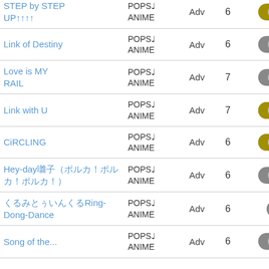| Title | Genre | Difficulty | Level | Icon |
| --- | --- | --- | --- | --- |
| STEP by STEP UP↑↑↑↑ | POPS♩ANIME | Adv | 6 | [pill-olive] |
| Link of Destiny | POPS♩ANIME | Adv | 6 | [pill-gray] |
| Love is MY RAIL | POPS♩ANIME | Adv | 7 | [pill-gray] |
| Link with U | POPS♩ANIME | Adv | 7 | [pill-left-olive] |
| CiRCLING | POPS♩ANIME | Adv | 6 | [pill-left-olive] |
| Hey-day囃子（ポルカ！ポルカ！ポルカ！） | POPS♩ANIME | Adv | 6 | [pill-gray] |
| くるみとぅいんくるRing-Dong-Dance | POPS♩ANIME | Adv | 6 | [pill-red-circle] |
| Song of the... | POPS♩ANIME | Adv | 6 | [pill-gray] |